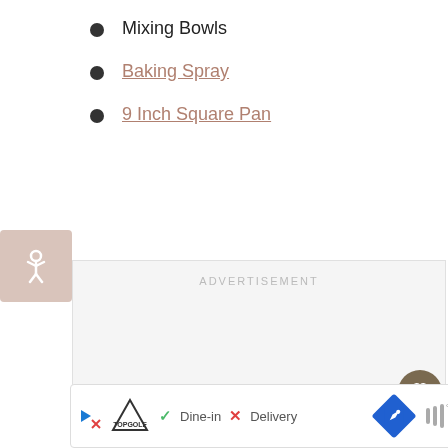Mixing Bowls
Baking Spray
9 Inch Square Pan
[Figure (other): Accessibility icon button (person in circle)]
ADVERTISEMENT
[Figure (other): Heart/favorite button icon]
54
[Figure (other): Share button icon]
[Figure (photo): Thumbnail image of homemade chocolate brownies]
WHAT'S NEXT → Homemade Chocolate...
[Figure (other): Bottom advertisement bar with TopGolf logo, Dine-in checkmark, Delivery cross, blue direction sign, and weather icon]